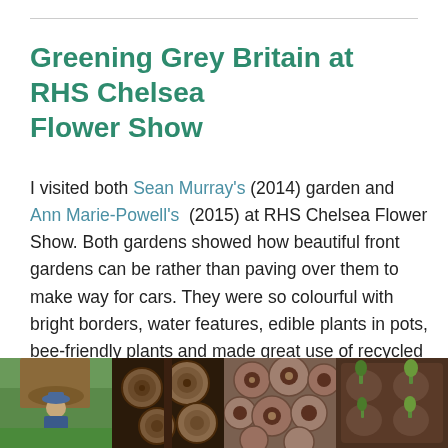Greening Grey Britain at RHS Chelsea Flower Show
I visited both Sean Murray's (2014) garden and Ann Marie-Powell's (2015) at RHS Chelsea Flower Show. Both gardens showed how beautiful front gardens can be rather than paving over them to make way for cars. They were so colourful with bright borders, water features, edible plants in pots, bee-friendly plants and made great use of recycled materials.
[Figure (photo): Four photos from RHS Chelsea Flower Show gardens showing garden features including a person in a hat, log cross-sections, round clay discs, and plants in containers.]